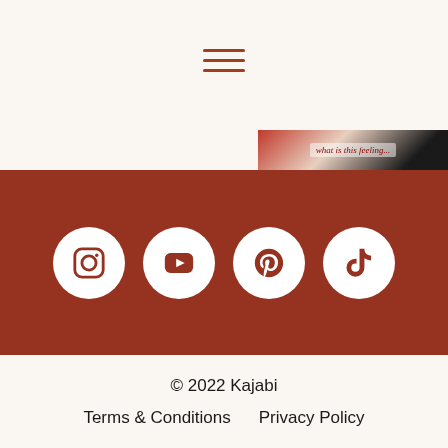[Figure (other): Hamburger menu icon with three horizontal lines in terracotta/rust color]
[Figure (photo): Partial image strip showing what appears to be a music or art related image with cursive text 'what is this feeling' in red on a mixed background]
[Figure (other): Terracotta/rust colored banner with four white circular social media icons: Instagram, YouTube, Pinterest, TikTok]
© 2022 Kajabi
Terms & Conditions      Privacy Policy